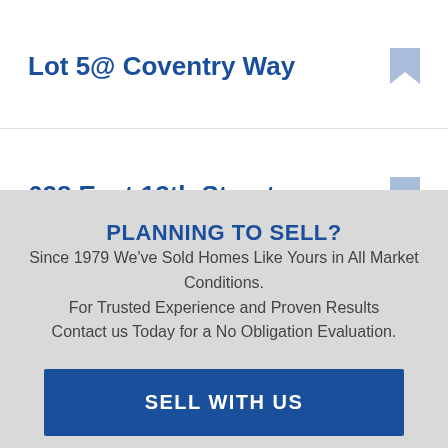Lot 5@ Coventry Way
628 East 12th Street
PLANNING TO SELL?
Since 1979 We've Sold Homes Like Yours in All Market Conditions.
For Trusted Experience and Proven Results Contact us Today for a No Obligation Evaluation.
SELL WITH US